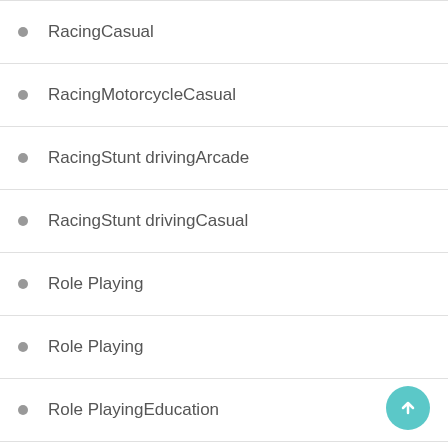RacingCasual
RacingMotorcycleCasual
RacingStunt drivingArcade
RacingStunt drivingCasual
Role Playing
Role Playing
Role PlayingEducation
Role PlayingPretend Play
Role-playing